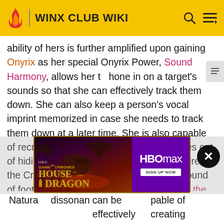WINX CLUB WIKI
ability of hers is further amplified upon gaining Onyrix as her special Onyrix Power, Sound Harmony, allows her to hone in on a target's sounds so that she can effectively track them down. She can also keep a person's vocal imprint memorized in case she needs to track them down at a later time. She is also capable of recreating certain sounds to lure enemies out of hiding and this can be seen when she lures the Crocodile Man out by replicating the sound of footsteps in the episode "The Legend of the Crocodile Man."
[Figure (screenshot): HBO Max advertisement for House of the Dragon with purple background and HBO Max Sign Up Now button]
Naturally, dissonance can be effectively capable of creating stronger and more erratic sound waves as